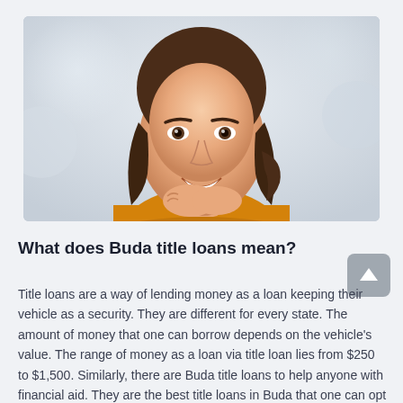[Figure (photo): Smiling young brunette woman in an orange top, resting her chin on her hands, with a blurred light background.]
What does Buda title loans mean?
Title loans are a way of lending money as a loan keeping their vehicle as a security. They are different for every state. The amount of money that one can borrow depends on the vehicle's value. The range of money as a loan via title loan lies from $250 to $1,500. Similarly, there are Buda title loans to help anyone with financial aid. They are the best title loans in Buda that one can opt for.